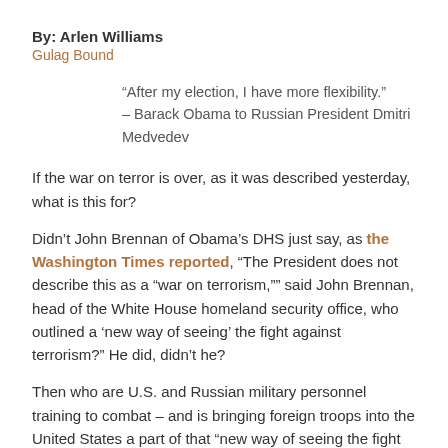By: Arlen Williams
Gulag Bound
“After my election, I have more flexibility.” – Barack Obama to Russian President Dmitri Medvedev
If the war on terror is over, as it was described yesterday, what is this for?
Didn’t John Brennan of Obama’s DHS just say, as the Washington Times reported, “The President does not describe this as a “war on terrorism,”” said John Brennan, head of the White House homeland security office, who outlined a ‘new way of seeing’ the fight against terrorism?” He did, didn’t he?
Then who are U.S. and Russian military personnel training to combat – and is bringing foreign troops into the United States a part of that “new way of seeing the fight against terrorism?”